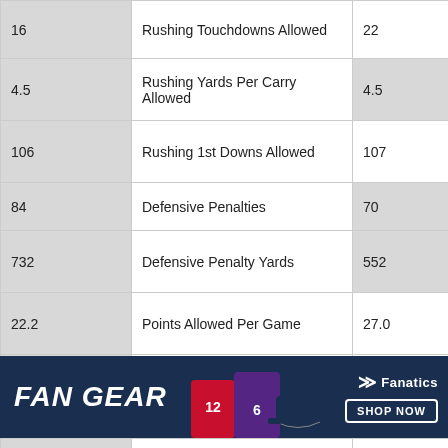| Stat Value | Stat Name | Opponent Value |
| --- | --- | --- |
| 16 | Rushing Touchdowns Allowed | 22 |
| 4.5 | Rushing Yards Per Carry Allowed | 4.5 |
| 106 | Rushing 1st Downs Allowed | 107 |
| 84 | Defensive Penalties | 70 |
| 732 | Defensive Penalty Yards | 552 |
| 22.2 | Points Allowed Per Game | 27.0 |
| 344.3 | Total Yards Per Game Allowed | 402.5 |
| 14.9 | Completions Allowed Per Game | 22.8 |
[Figure (infographic): FAN GEAR advertisement banner with sports jerseys, Fanatics logo and SHOP NOW button]